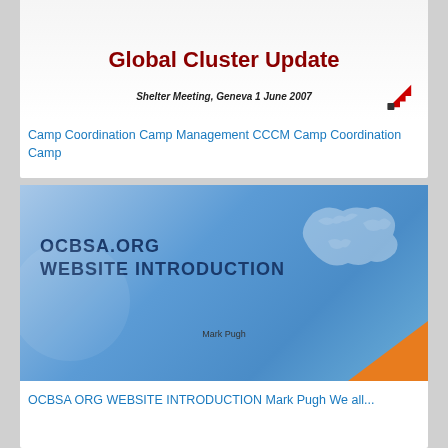[Figure (screenshot): Slide thumbnail showing 'Global Cluster Update' in dark red bold text, with subtitle 'Shelter Meeting, Geneva 1 June 2007' and a red arrow icon]
Camp Coordination Camp Management CCCM Camp Coordination Camp
[Figure (screenshot): Slide thumbnail with blue gradient background and world map silhouette, showing 'OCBSA.ORG WEBSITE INTRODUCTION' and 'Mark Pugh' as author, with orange triangle in bottom-right corner]
OCBSA ORG WEBSITE INTRODUCTION Mark Pugh We all...